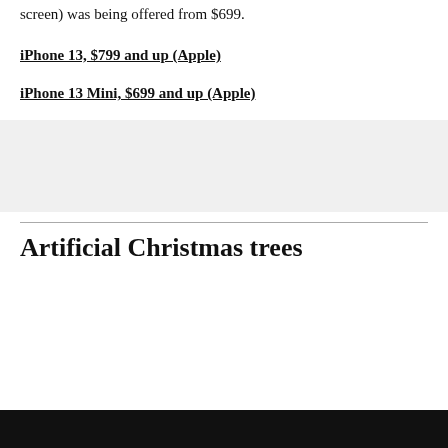screen) was being offered from $699.
iPhone 13, $799 and up (Apple)
iPhone 13 Mini, $699 and up (Apple)
[Figure (other): Advertisement placeholder block]
Artificial Christmas trees